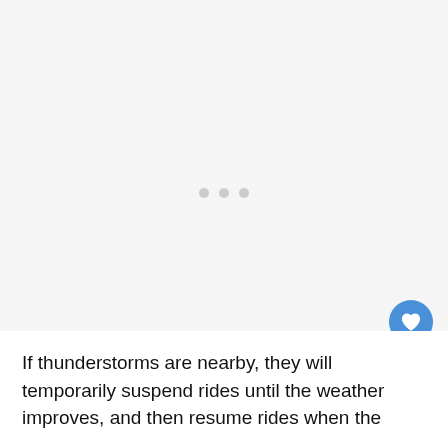[Figure (other): Loading spinner area with three grey dots indicating content is loading]
[Figure (other): UI action buttons: a blue heart/like button, a count badge showing '1', and a white share button with a share icon]
If thunderstorms are nearby, they will temporarily suspend rides until the weather improves, and then resume rides when the